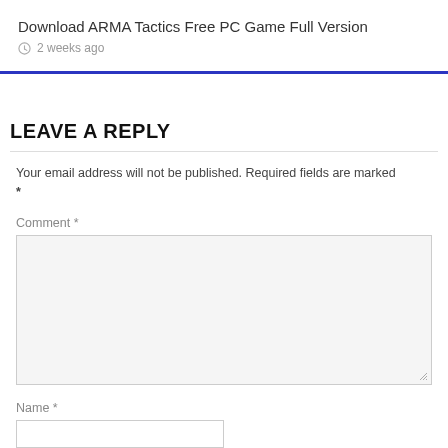Download ARMA Tactics Free PC Game Full Version
2 weeks ago
LEAVE A REPLY
Your email address will not be published. Required fields are marked *
Comment *
Name *